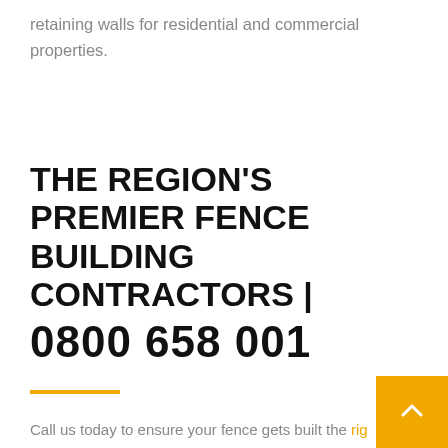retaining walls for residential and commercial properties.
THE REGION'S PREMIER FENCE BUILDING CONTRACTORS |
0800 658 001
Call us today to ensure your fence gets built the right